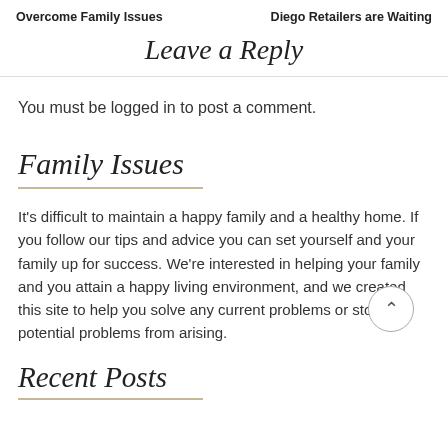Overcome Family Issues    Diego Retailers are Waiting
Leave a Reply
You must be logged in to post a comment.
Family Issues
It's difficult to maintain a happy family and a healthy home. If you follow our tips and advice you can set yourself and your family up for success. We're interested in helping your family and you attain a happy living environment, and we created this site to help you solve any current problems or stop any potential problems from arising.
Recent Posts